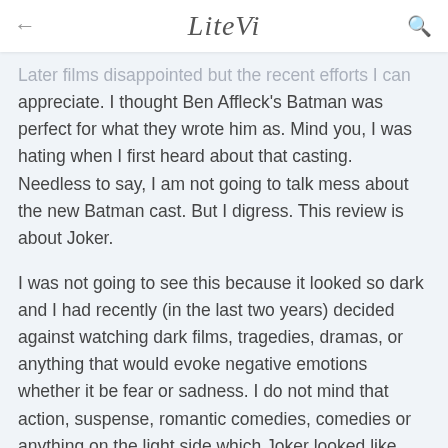← nce how could I not get o  LiteVi  🔍
Later films disappointed but the recent efforts I can appreciate. I thought Ben Affleck's Batman was perfect for what they wrote him as. Mind you, I was hating when I first heard about that casting. Needless to say, I am not going to talk mess about the new Batman cast. But I digress. This review is about Joker.
I was not going to see this because it looked so dark and I had recently (in the last two years) decided against watching dark films, tragedies, dramas, or anything that would evoke negative emotions whether it be fear or sadness. I do not mind that action, suspense, romantic comedies, comedies or anything on the light side which Joker looked like nothing light.
Regardless of my apprehension, my daughter dragged me to see it, and I am glad that she did. It started off slow but I was